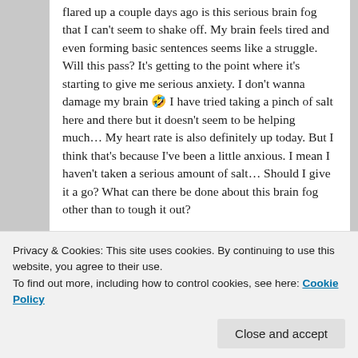flared up a couple days ago is this serious brain fog that I can't seem to shake off. My brain feels tired and even forming basic sentences seems like a struggle. Will this pass? It's getting to the point where it's starting to give me serious anxiety. I don't wanna damage my brain 🤣 I have tried taking a pinch of salt here and there but it doesn't seem to be helping much… My heart rate is also definitely up today. But I think that's because I've been a little anxious. I mean I haven't taken a serious amount of salt… Should I give it a go? What can there be done about this brain fog other than to tough it out?
Thanks for the help!
esmeelafleur
Privacy & Cookies: This site uses cookies. By continuing to use this website, you agree to their use. To find out more, including how to control cookies, see here: Cookie Policy